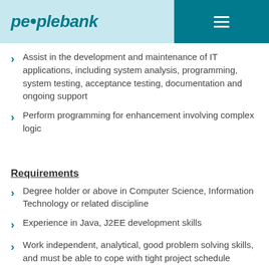peoplebank
Assist in the development and maintenance of IT applications, including system analysis, programming, system testing, acceptance testing, documentation and ongoing support
Perform programming for enhancement involving complex logic
Requirements
Degree holder or above in Computer Science, Information Technology or related discipline
Experience in Java, J2EE development skills
Work independent, analytical, good problem solving skills, and must be able to cope with tight project schedule